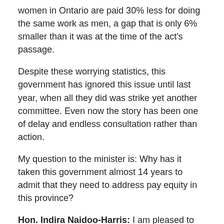women in Ontario are paid 30% less for doing the same work as men, a gap that is only 6% smaller than it was at the time of the act's passage.
Despite these worrying statistics, this government has ignored this issue until last year, when all they did was strike yet another committee. Even now the story has been one of delay and endless consultation rather than action.
My question to the minister is: Why has it taken this government almost 14 years to admit that they need to address pay equity in this province?
Hon. Indira Naidoo-Harris: I am pleased to rise today and speak, on pay equity day, on what I think is a very important issue.
First off, I want to point out to the member opposite that this is the side of the House that actually took action on this. With the Premier's assignment of a Ministry of the Status of Women and the first stand-alone minister